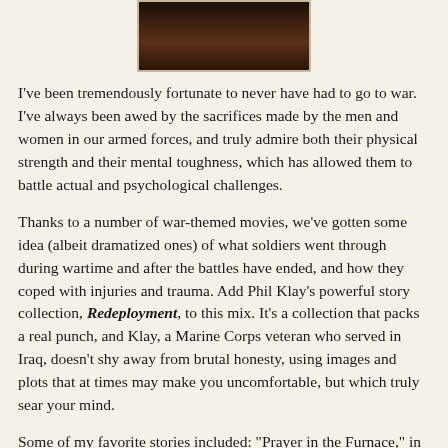[Figure (photo): A dark, sepia-toned photograph showing what appears to be soldiers or people in shadow, visible at the top of the page (partially cropped).]
I've been tremendously fortunate to never have had to go to war. I've always been awed by the sacrifices made by the men and women in our armed forces, and truly admire both their physical strength and their mental toughness, which has allowed them to battle actual and psychological challenges.
Thanks to a number of war-themed movies, we've gotten some idea (albeit dramatized ones) of what soldiers went through during wartime and after the battles have ended, and how they coped with injuries and trauma. Add Phil Klay's powerful story collection, Redeployment, to this mix. It's a collection that packs a real punch, and Klay, a Marine Corps veteran who served in Iraq, doesn't shy away from brutal honesty, using images and plots that at times may make you uncomfortable, but which truly sear your mind.
Some of my favorite stories included: "Prayer in the Furnace," in which a chaplain finds his abilities and his faith tested by the actions of a zealous Colonel and the effects his zeal had on those in his platoon; "Psychological Operations," which follows the struggles of a former PsyOps Marine desperate for the approval of